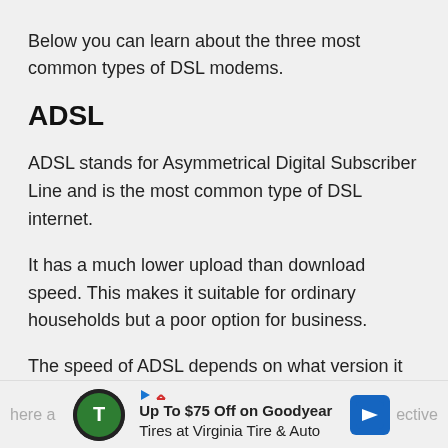Below you can learn about the three most common types of DSL modems.
ADSL
ADSL stands for Asymmetrical Digital Subscriber Line and is the most common type of DSL internet.
It has a much lower upload than download speed. This makes it suitable for ordinary households but a poor option for business.
The speed of ADSL depends on what version it is, but
[Figure (other): Advertisement banner: Up To $75 Off on Goodyear Tires at Virginia Tire & Auto]